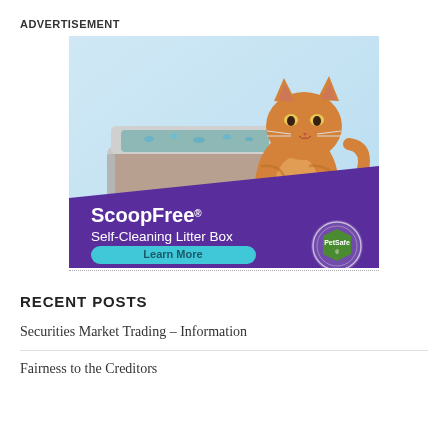ADVERTISEMENT
[Figure (illustration): Advertisement for PetSafe ScoopFree Self-Cleaning Litter Box. Shows an orange tabby cat standing next to a grey automatic self-cleaning litter box with blue crystal litter. Background is light blue. Bottom portion has a purple diagonal banner with white text 'ScoopFree® Self-Cleaning Litter Box', a teal/light blue 'Learn More' button in dark teal text, and a PetSafe logo badge on the right.]
RECENT POSTS
Securities Market Trading – Information
Fairness to the Creditors